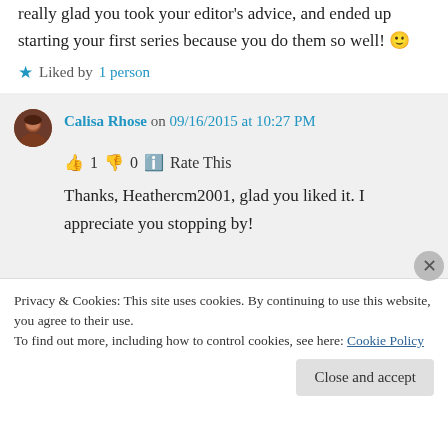really glad you took your editor's advice, and ended up starting your first series because you do them so well! 🙂
★ Liked by 1 person
Calisa Rhose on 09/16/2015 at 10:27 PM
👍 1 👎 0 ℹ Rate This
Thanks, Heathercm2001, glad you liked it. I appreciate you stopping by!
Privacy & Cookies: This site uses cookies. By continuing to use this website, you agree to their use. To find out more, including how to control cookies, see here: Cookie Policy